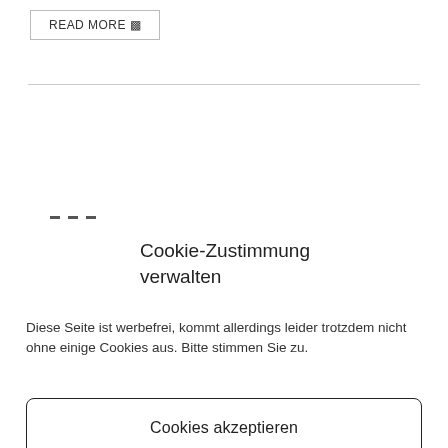READ MORE ▷
Cookie-Zustimmung verwalten
Diese Seite ist werbefrei, kommt allerdings leider trotzdem nicht ohne einige Cookies aus. Bitte stimmen Sie zu.
Cookies akzeptieren
Ablehnen
Einstellungen anzeigen